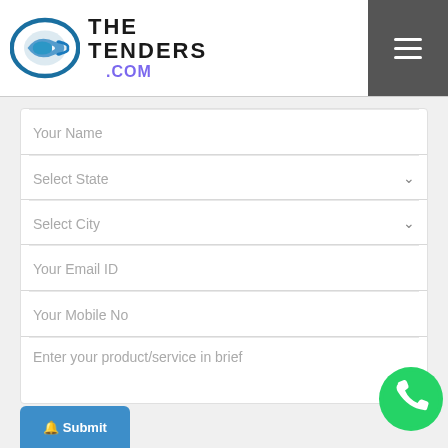[Figure (logo): TheTenders.com logo with blue oval icon and brand name]
Your Name
Select State
Select City
Your Email ID
Your Mobile No
Enter your product/service in brief
973009   verification code
[Figure (illustration): Green WhatsApp phone icon button]